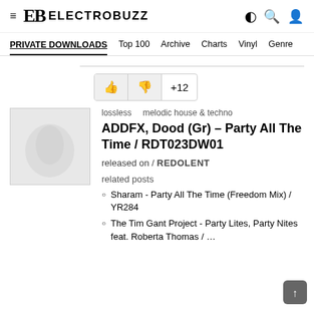ELECTROBUZZ
PRIVATE DOWNLOADS  Top 100  Archive  Charts  Vinyl  Genre
+12
[Figure (photo): Album cover artwork - light grey/white abstract image]
lossless   melodic house & techno
ADDFX, Dood (Gr) – Party All The Time / RDT023DW01
released on / REDOLENT
related posts
Sharam - Party All The Time (Freedom Mix) / YR284
The Tim Gant Project - Party Lites, Party Nites feat. Roberta Thomas / …